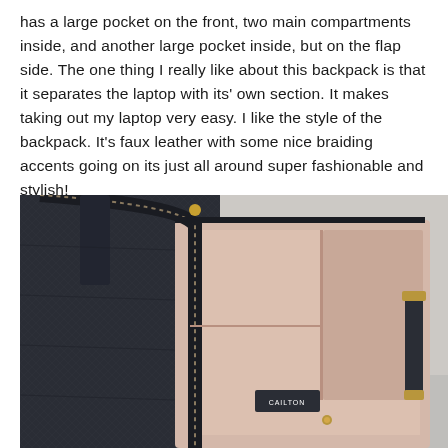has a large pocket on the front, two main compartments inside, and another large pocket inside, but on the flap side. The one thing I really like about this backpack is that it separates the laptop with its' own section. It makes taking out my laptop very easy. I like the style of the backpack. It's faux leather with some nice braiding accents going on its just all around super fashionable and stylish!
[Figure (photo): Photo of an open dark navy/black faux leather backpack lying flat, showing the interior with a light pink/beige lining, internal pocket dividers, zipper closure, and a small brand label tag. The backpack is on a light gray textured surface.]